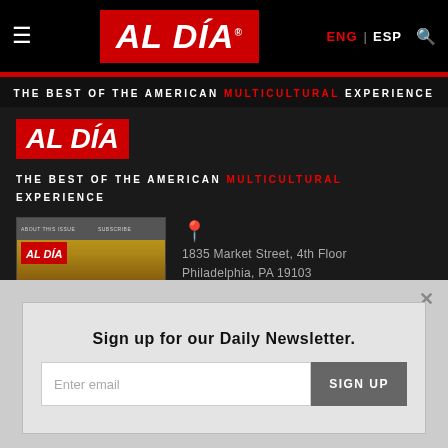AL DÍA - ENG | ESP
THE BEST OF THE AMERICAN MULTICULTURAL EXPERIENCE
[Figure (logo): AL DÍA logo in red box with white italic text]
THE BEST OF THE AMERICAN MULTICULTURAL EXPERIENCE
[Figure (photo): AL DÍA magazine cover featuring a woman smiling with headline CUISINE AS A SOCIAL WEAPON]
1835 Market Street, 4th Floor
Philadelphia, PA 19103
SUBSCRIBE
Sign up for our Daily Newsletter.
Enter email
SIGN UP